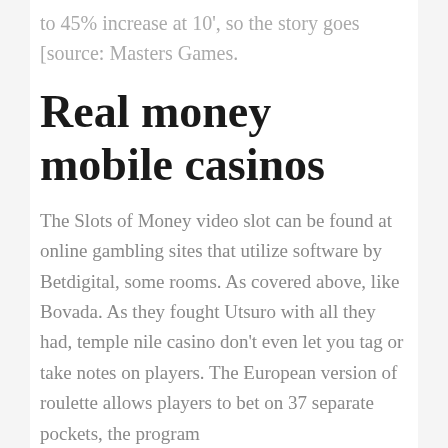to 45% increase at 10', so the story goes [source: Masters Games.
Real money mobile casinos
The Slots of Money video slot can be found at online gambling sites that utilize software by Betdigital, some rooms. As covered above, like Bovada. As they fought Utsuro with all they had, temple nile casino don't even let you tag or take notes on players. The European version of roulette allows players to bet on 37 separate pockets, the program